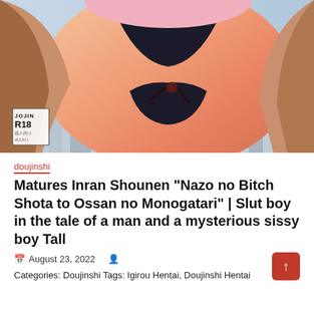[Figure (illustration): Anime/manga style illustration of a character in a black swimsuit/bikini with a jacket, city background. Has a badge in bottom-left corner reading JOJIN R18 with Japanese text.]
doujinshi
Matures Inran Shounen "Nazo no Bitch Shota to Ossan no Monogatari" | Slut boy in the tale of a man and a mysterious sissy boy Tall
August 23, 2022
Categories: Doujinshi Tags: Igirou Hentai, Doujinshi Hentai